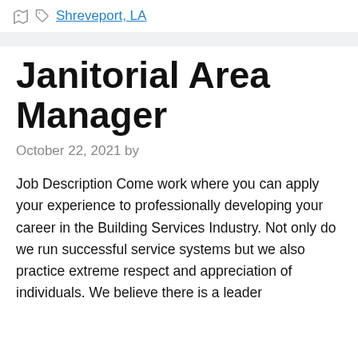Shreveport, LA
Janitorial Area Manager
October 22, 2021 by
Job Description Come work where you can apply your experience to professionally developing your career in the Building Services Industry. Not only do we run successful service systems but we also practice extreme respect and appreciation of individuals. We believe there is a leader